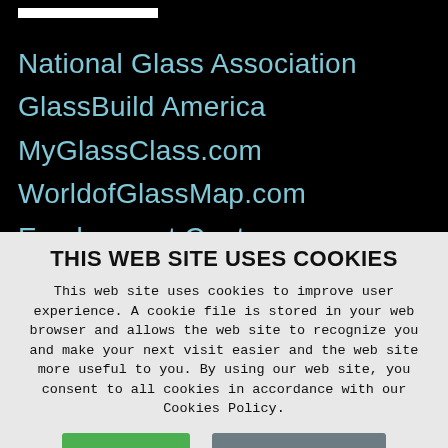National Glass Association
GlassBuild America
MyGlassClass.com
WorldofGlassMap.com
Employment Center
THIS WEB SITE USES COOKIES
This web site uses cookies to improve user experience. A cookie file is stored in your web browser and allows the web site to recognize you and make your next visit easier and the web site more useful to you. By using our web site, you consent to all cookies in accordance with our Cookies Policy.
I agree
Cookies Policy